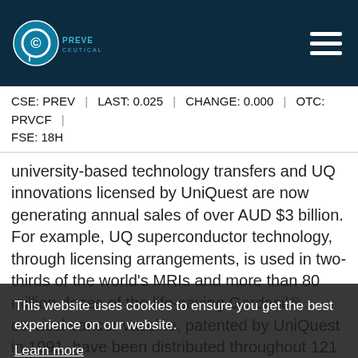PreveCeutical logo | CSE: PREV | LAST: 0.025 | CHANGE: 0.000 | OTC: PRVCF | FSE: 18H
university-based technology transfers and UQ innovations licensed by UniQuest are now generating annual sales of over AUD $3 billion. For example, UQ superconductor technology, through licensing arrangements, is used in two-thirds of the world's MRIs and more than 80 million doses of the life-saving Gardasil® cervical cancer vaccine, patented by UniQuest in 1991, have been distributed throughout 121 countries, including 72 developing countries.
This website uses cookies to ensure you get the best experience on our website.
Learn more
Got it!   Allow cookies
On Behalf of the Board of Directors
Stephen Van Deventer